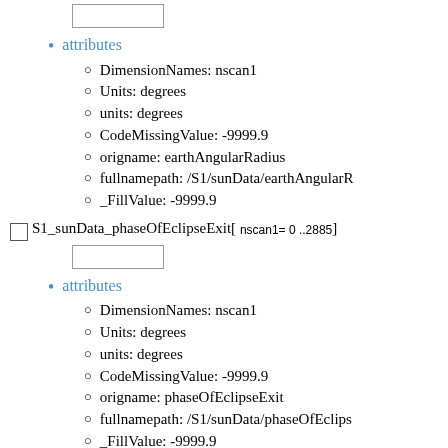[Figure (other): Input box widget at top of page]
attributes
DimensionNames: nscan1
Units: degrees
units: degrees
CodeMissingValue: -9999.9
origname: earthAngularRadius
fullnamepath: /S1/sunData/earthAngularR...
_FillValue: -9999.9
S1_sunData_phaseOfEclipseExit[ nscan1= 0 ..2885]
[Figure (other): Input box widget for phaseOfEclipseExit]
attributes
DimensionNames: nscan1
Units: degrees
units: degrees
CodeMissingValue: -9999.9
origname: phaseOfEclipseExit
fullnamepath: /S1/sunData/phaseOfEclips...
_FillValue: -9999.9
S1_sunData_solarBetaAngle[ nscan1= 0 ..2885] (Type is Float...)
[Figure (other): Input box widget for solarBetaAngle]